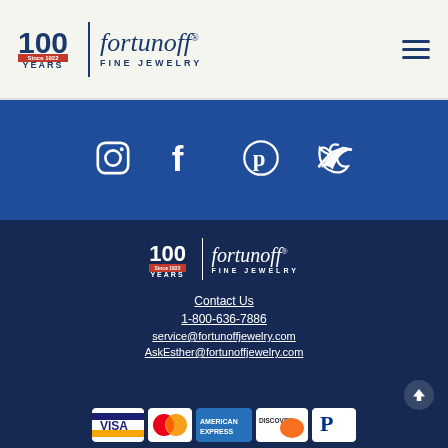[Figure (logo): Fortunoff Fine Jewelry 100 Years logo with hamburger menu icon]
[Figure (infographic): Social media icons: Instagram, Facebook, Pinterest, Twitter on blue background]
[Figure (logo): Fortunoff Fine Jewelry 100 Years logo (white version on dark blue)]
Contact Us
1-800-636-7886
service@fortunoffjewelry.com
AskEsther@fortunoffjewelry.com
[Figure (infographic): Payment icons: Visa, Mastercard, American Express, Discover, PayPal]